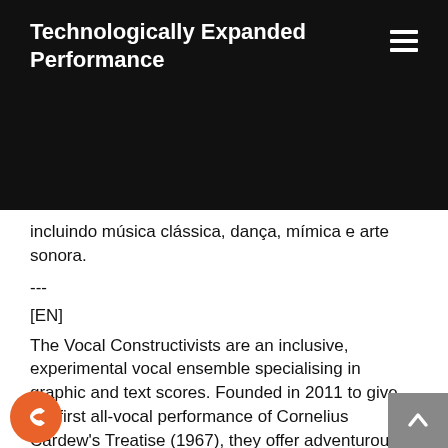Technologically Expanded Performance
incluindo música clássica, dança, mímica e arte sonora.
---
[EN]
The Vocal Constructivists are an inclusive, experimental vocal ensemble specialising in graphic and text scores. Founded in 2011 to give the first all-vocal performance of Cornelius Cardew's Treatise (1967), they offer adventurous performances, live and online. Members come from diverse backgrounds including classical music, dance, mime and noise art.